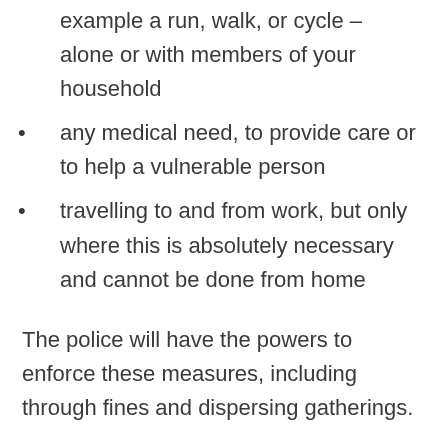example a run, walk, or cycle – alone or with members of your household
any medical need, to provide care or to help a vulnerable person
travelling to and from work, but only where this is absolutely necessary and cannot be done from home
The police will have the powers to enforce these measures, including through fines and dispersing gatherings.
To ensure compliance with the